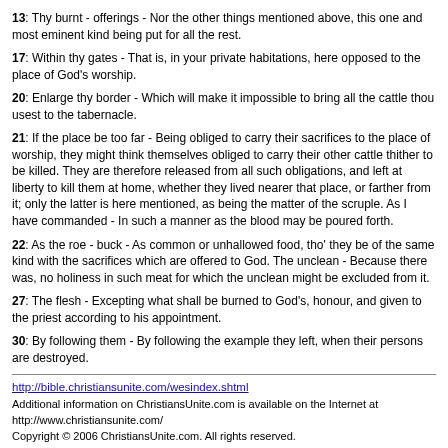13: Thy burnt - offerings - Nor the other things mentioned above, this one and most eminent kind being put for all the rest.
17: Within thy gates - That is, in your private habitations, here opposed to the place of God's worship.
20: Enlarge thy border - Which will make it impossible to bring all the cattle thou usest to the tabernacle.
21: If the place be too far - Being obliged to carry their sacrifices to the place of worship, they might think themselves obliged to carry their other cattle thither to be killed. They are therefore released from all such obligations, and left at liberty to kill them at home, whether they lived nearer that place, or farther from it; only the latter is here mentioned, as being the matter of the scruple. As I have commanded - In such a manner as the blood may be poured forth.
22: As the roe - buck - As common or unhallowed food, tho' they be of the same kind with the sacrifices which are offered to God. The unclean - Because there was, no holiness in such meat for which the unclean might be excluded from it.
27: The flesh - Excepting what shall be burned to God's, honour, and given to the priest according to his appointment.
30: By following them - By following the example they left, when their persons are destroyed.
http://bible.christiansunite.com/wesindex.shtml
Additional information on ChristiansUnite.com is available on the Internet at http://www.christiansunite.com/
Copyright © 2006 ChristiansUnite.com. All rights reserved.